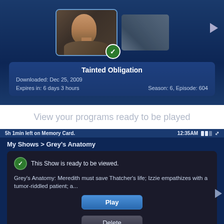[Figure (screenshot): TV show episode detail screen showing two video thumbnails. First thumbnail shows a man's face with a green checkmark badge. Second thumbnail shows a room interior. Title: Tainted Obligation. Downloaded: Dec 25, 2009. Expires in: 6 days 3 hours. Season: 6, Episode: 604.]
View your programs ready to be played
[Figure (screenshot): Mobile app screenshot showing 'My Shows > Grey's Anatomy' with a popup dialog. Status bar shows '5h 1min left on Memory Card.' and time '12:35AM'. Dialog has green checkmark icon with text 'This Show is ready to be viewed.' Description: Grey's Anatomy: Meredith must save Thatcher's life; Izzie empathizes with a tumor-riddled patient; a... Play and Delete buttons shown.]